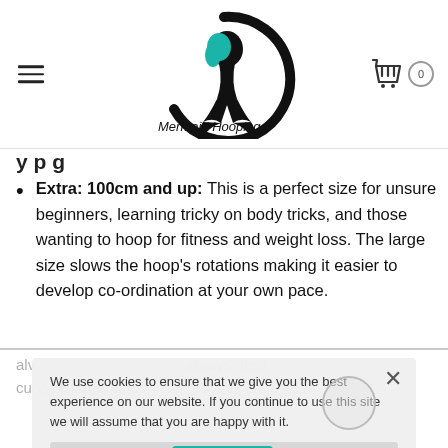Mermaid Hooping
y p g
Extra: 100cm and up: This is a perfect size for unsure beginners, learning tricky on body tricks, and those wanting to hoop for fitness and weight loss. The large size slows the hoop's rotations making it easier to develop co-ordination at your own pace.
We use cookies to ensure that we give you the best experience on our website. If you continue to use this site we will assume that you are happy with it.
Ok